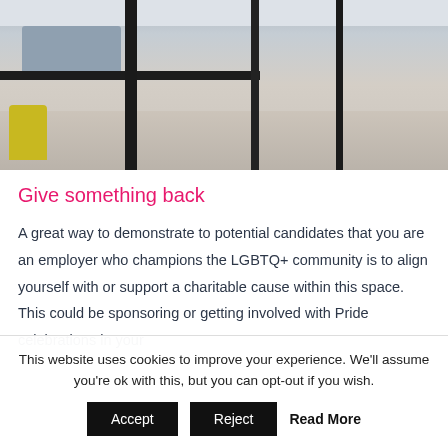[Figure (photo): Interior office hallway with black metal framing, glass partitions, concrete floor, yellow chair on the left, and soft furnishings in background]
Give something back
A great way to demonstrate to potential candidates that you are an employer who champions the LGBTQ+ community is to align yourself with or support a charitable cause within this space. This could be sponsoring or getting involved with Pride celebrations in your
This website uses cookies to improve your experience. We'll assume you're ok with this, but you can opt-out if you wish.